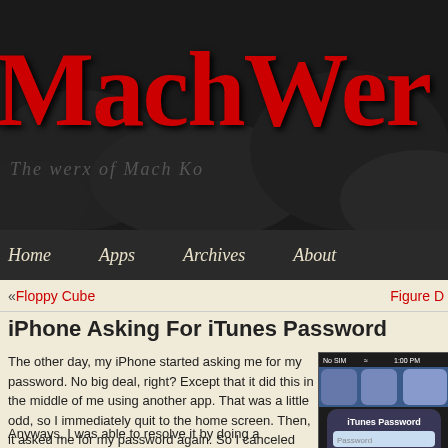[Figure (logo): MachWerx website header banner with large red bold text 'MachWer' (cropped) on dark background with subtitle 'The werx of Mach Ko' (cropped)]
Home   Apps   Archives   About
« Floppy Cube    Figure D
iPhone Asking For iTunes Password
The other day, my iPhone started asking me for my password. No big deal, right? Except that it did this in the middle of me using another app. That was a little odd, so I immediately quit to the home screen. Then, it asked me for my password again. So I canceled again, but I was starting to worry a bit. I think it was just a little hiccup related to me upgrading the iPhone OS or upgrading iTunes.
[Figure (screenshot): iPhone screenshot showing iTunes Password dialog with Password field, Cancel and OK buttons, home screen icons, and QWERTY keyboard]
Anyways, I was able to resolve it by doing a